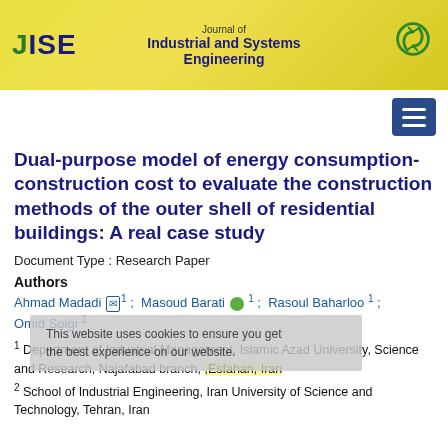[Figure (logo): JISE Journal of Industrial and Systems Engineering banner with yellow/gold background and green recycling icon]
Dual-purpose model of energy consumption-construction cost to evaluate the construction methods of the outer shell of residential buildings: A real case study
Document Type : Research Paper
Authors
Ahmad Madadi [email] 1 ; Masoud Barati [orcid] 1 ; Rasoul Baharloo 1 ; Omid Solgi 2
1 Department of Industrial Management, Islamic Azad University, Science and Research, Najafabad branch, ,Esfahan, Iran
2 School of Industrial Engineering, Iran University of Science and Technology, Tehran, Iran